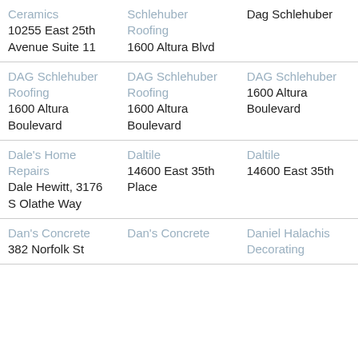| Column 1 | Column 2 | Column 3 |
| --- | --- | --- |
| Ceramics
10255 East 25th Avenue Suite 11 | Schlehuber Roofing
1600 Altura Blvd | Dag Schlehuber |
| DAG Schlehuber Roofing
1600 Altura Boulevard | DAG Schlehuber Roofing
1600 Altura Boulevard | DAG Schlehuber
1600 Altura Boulevard |
| Dale's Home Repairs
Dale Hewitt, 3176 S Olathe Way | Daltile
14600 East 35th Place | Daltile
14600 East 35th |
| Dan's Concrete
382 Norfolk St | Dan's Concrete | Daniel Halachis Decorating |